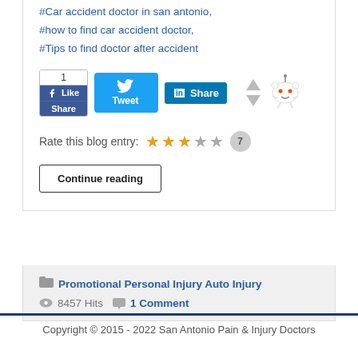#Car accident doctor in san antonio, #how to find car accident doctor, #Tips to find doctor after accident
[Figure (infographic): Social sharing buttons: Facebook Like/Share with count 1, Twitter Tweet button, LinkedIn Share button, Reddit up/down vote arrows and Reddit alien mascot icon]
Rate this blog entry: ★★★☆☆ 7
Continue reading
Promotional Personal Injury Auto Injury
8457 Hits  1 Comment
Copyright © 2015 - 2022 San Antonio Pain & Injury Doctors